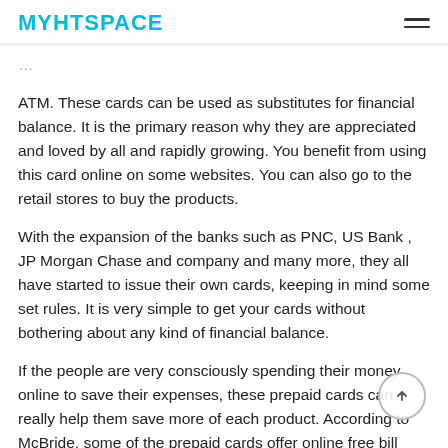MYHTSPACE
ATM. These cards can be used as substitutes for financial balance. It is the primary reason why they are appreciated and loved by all and rapidly growing. You benefit from using this card online on some websites. You can also go to the retail stores to buy the products.
With the expansion of the banks such as PNC, US Bank , JP Morgan Chase and company and many more, they all have started to issue their own cards, keeping in mind some set rules. It is very simple to get your cards without bothering about any kind of financial balance.
If the people are very consciously spending their money online to save their expenses, these prepaid cards can really help them save more of each product. According to McBride, some of the prepaid cards offer online free bill payment services. This allows the users to pay less cash